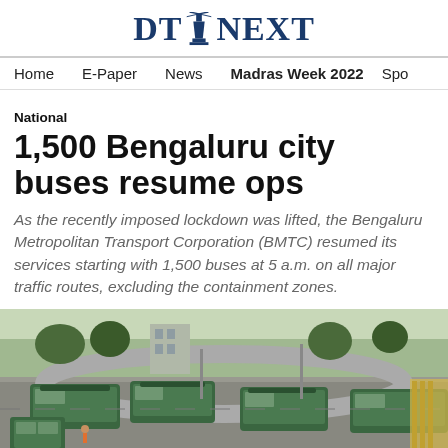DT NEXT
Home  E-Paper  News  Madras Week 2022  Spo
National
1,500 Bengaluru city buses resume ops
As the recently imposed lockdown was lifted, the Bengaluru Metropolitan Transport Corporation (BMTC) resumed its services starting with 1,500 buses at 5 a.m. on all major traffic routes, excluding the containment zones.
[Figure (photo): Aerial view of multiple green-and-white BMTC buses parked at a bus depot/terminal, with roads and infrastructure visible in the background.]